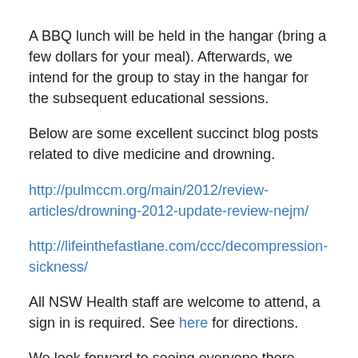A BBQ lunch will be held in the hangar (bring a few dollars for your meal). Afterwards, we intend for the group to stay in the hangar for the subsequent educational sessions.
Below are some excellent succinct blog posts related to dive medicine and drowning.
http://pulmccm.org/main/2012/review-articles/drowning-2012-update-review-nejm/
http://lifeinthefastlane.com/ccc/decompression-sickness/
All NSW Health staff are welcome to attend, a sign in is required. See here for directions.
We look forward to seeing everyone there.
March 4, 2016